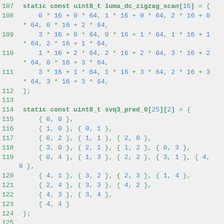Source code snippet showing C array declarations: luma_dc_zigzag_scan and svq3_pred_0, lines 107-126